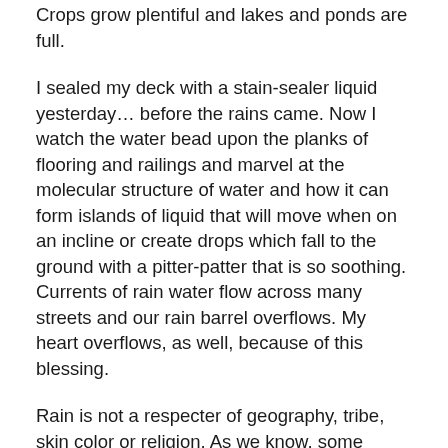Crops grow plentiful and lakes and ponds are full.
I sealed my deck with a stain-sealer liquid yesterday… before the rains came. Now I watch the water bead upon the planks of flooring and railings and marvel at the molecular structure of water and how it can form islands of liquid that will move when on an incline or create drops which fall to the ground with a pitter-patter that is so soothing. Currents of rain water flow across many streets and our rain barrel overflows. My heart overflows, as well, because of this blessing.
Rain is not a respecter of geography, tribe, skin color or religion. As we know, some areas of the earth receive more rain than they can accommodate while others receive barely a few inches an entire year. The Bible says that rain is not a respecter of persons, as it falls among the